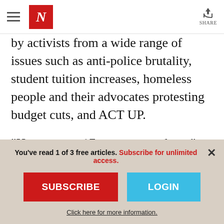The Nation - Navigation header with logo and share button
by activists from a wide range of issues such as anti-police brutality, student tuition increases, homeless people and their advocates protesting budget cuts, and ACT UP.
“Here we are 17, or so, years later,” says Walker, adding that ACT UP has been protesting against corporate greed and
You’ve read 1 of 3 free articles. Subscribe for unlimited access.
SUBSCRIBE
LOGIN
Click here for more information.